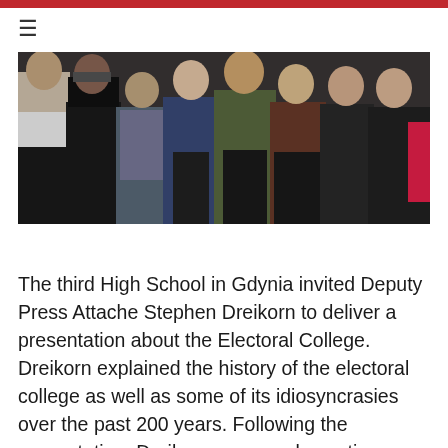[Figure (photo): Group photo of students and adults standing together in a room, approximately 8-10 people visible.]
The third High School in Gdynia invited Deputy Press Attache Stephen Dreikorn to deliver a presentation about the Electoral College. Dreikorn explained the history of the electoral college as well as some of its idiosyncrasies over the past 200 years. Following the presentation, Dreikorn answered questions on variety of subjects, including American politics, life as a diplomat, and how to study in